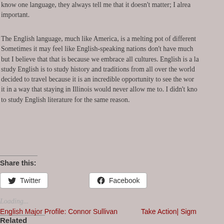know one language, they always tell me that it doesn't matter; I already important.
The English language, much like America, is a melting pot of different Sometimes it may feel like English-speaking nations don't have much but I believe that that is because we embrace all cultures. English is a la study English is to study history and traditions from all over the world decided to travel because it is an incredible opportunity to see the worl it in a way that staying in Illinois would never allow me to. I didn't kno to study English literature for the same reason.
Share this:
Twitter
Facebook
Loading...
Related
English Major Profile: Connor Sullivan
Take Action| Sigma